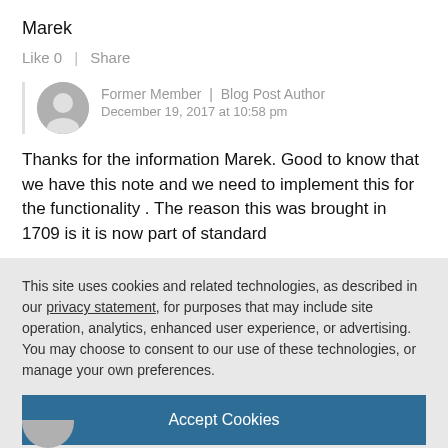Marek
Like 0  |  Share
Former Member | Blog Post Author
December 19, 2017 at 10:58 pm
Thanks for the information Marek. Good to know that we have this note and we need to implement this for the functionality . The reason this was brought in 1709 is it is now  part of standard
This site uses cookies and related technologies, as described in our privacy statement, for purposes that may include site operation, analytics, enhanced user experience, or advertising. You may choose to consent to our use of these technologies, or manage your own preferences.
Accept Cookies
More Information
Privacy Policy | Powered by:  TrustArc